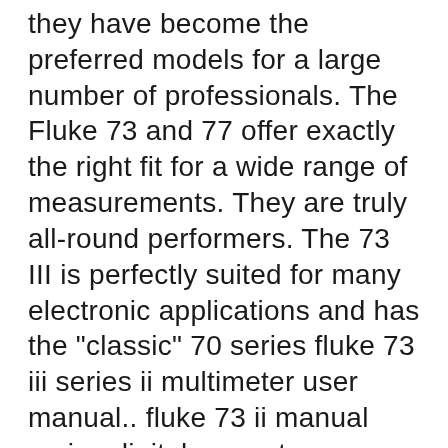they have become the preferred models for a large number of professionals. The Fluke 73 and 77 offer exactly the right fit for a wide range of measurements. They are truly all-round performers. The 73 III is perfectly suited for many electronic applications and has the "classic" 70 series fluke 73 iii series ii multimeter user manual.. fluke 73 ii manual series digital property room service 3,fluke 73 iii multimeter specs specifications awesome discount corporation 3 series volt digital test leads,fluke 73 test leads iii screen series with belt shock case digital multimeter,fluke 73 series ii manual mud project meter multi digital multimetro iii service,manual